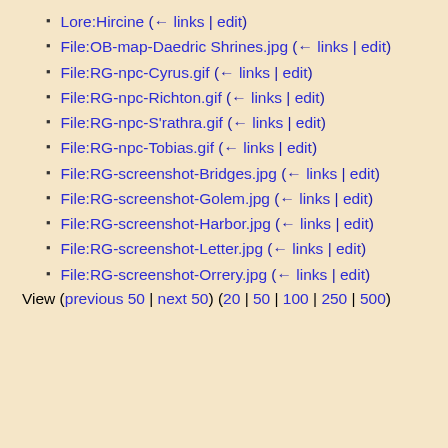Lore:Hircine  (← links | edit)
File:OB-map-Daedric Shrines.jpg  (← links | edit)
File:RG-npc-Cyrus.gif  (← links | edit)
File:RG-npc-Richton.gif  (← links | edit)
File:RG-npc-S'rathra.gif  (← links | edit)
File:RG-npc-Tobias.gif  (← links | edit)
File:RG-screenshot-Bridges.jpg  (← links | edit)
File:RG-screenshot-Golem.jpg  (← links | edit)
File:RG-screenshot-Harbor.jpg  (← links | edit)
File:RG-screenshot-Letter.jpg  (← links | edit)
File:RG-screenshot-Orrery.jpg  (← links | edit)
View (previous 50 | next 50) (20 | 50 | 100 | 250 | 500)